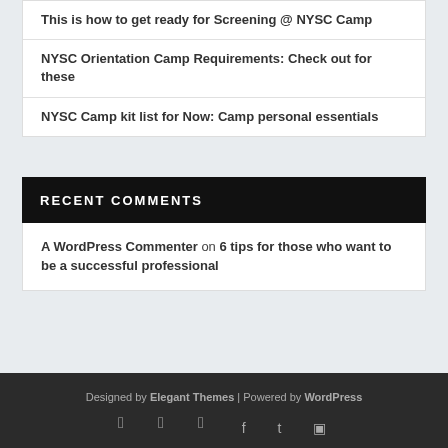This is how to get ready for Screening @ NYSC Camp
NYSC Orientation Camp Requirements: Check out for these
NYSC Camp kit list for Now: Camp personal essentials
RECENT COMMENTS
A WordPress Commenter on 6 tips for those who want to be a successful professional
Designed by Elegant Themes | Powered by WordPress